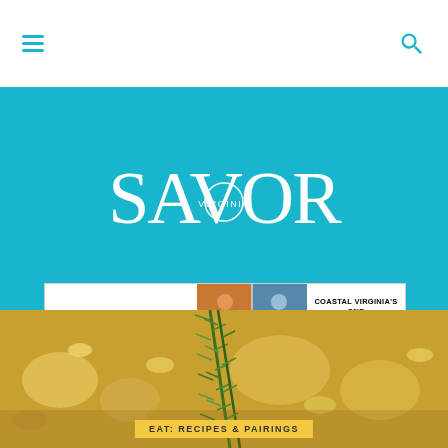Navigation bar with hamburger menu and search icon
[Figure (logo): Savor Virginia magazine logo in white text on teal background]
[Figure (infographic): CoVaTix.com advertisement banner: Coastal Virginia's One Stop Shop for Tickets - Buy Now]
[Figure (photo): Close-up food photograph of pasta or risotto dish with fresh rosemary herb sprig garnish, warm golden yellow tones]
EAT: RECIPES & PAIRINGS